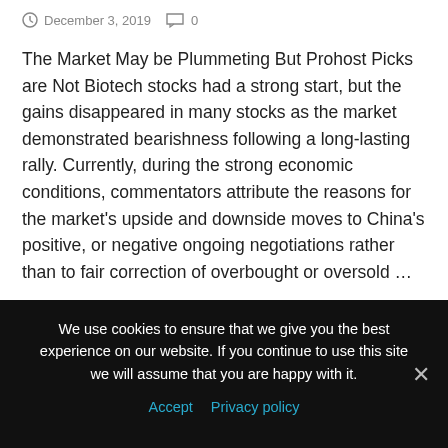December 3, 2019   0
The Market May be Plummeting But Prohost Picks are Not Biotech stocks had a strong start, but the gains disappeared in many stocks as the market demonstrated bearishness following a long-lasting rally. Currently, during the strong economic conditions, commentators attribute the reasons for the market's upside and downside moves to China's positive, or negative ongoing negotiations rather than to fair correction of overbought or oversold …
Read More
We use cookies to ensure that we give you the best experience on our website. If you continue to use this site we will assume that you are happy with it.
Accept   Privacy policy